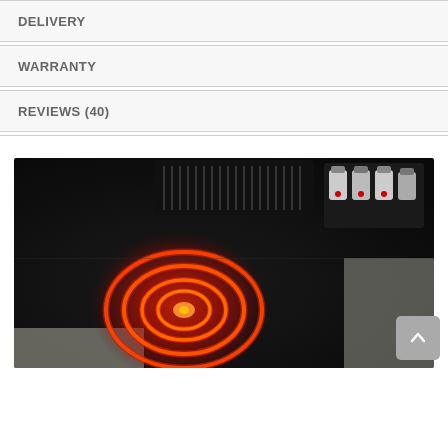DELIVERY
WARRANTY
REVIEWS (40)
[Figure (photo): A black ceramic electric cooktop with a glowing red heating element coil, viewed from an angle. In the upper right corner there is a grill insert and spice/condiment containers with red tops.]